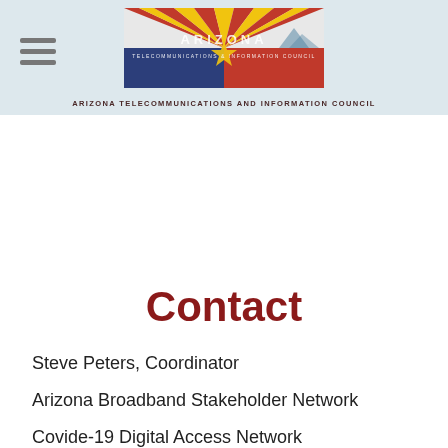Arizona Telecommunications and Information Council
Contact
Steve Peters, Coordinator
Arizona Broadband Stakeholder Network
Covide-19 Digital Access Network